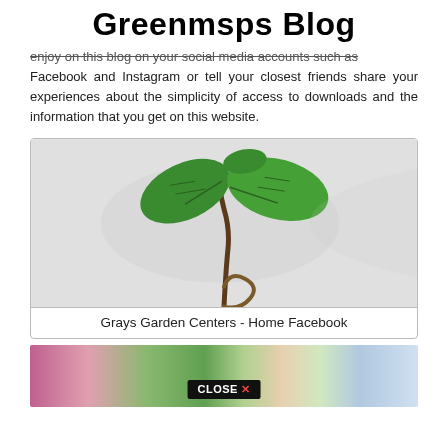Greenmsps Blog
enjoy on this blog on your social media accounts such as Facebook and Instagram or tell your closest friends share your experiences about the simplicity of access to downloads and the information that you get on this website.
[Figure (photo): Photo of a small plant seedling with green leaves and a curved stem/root emerging from soil, on a grey background]
Grays Garden Centers - Home Facebook
[Figure (photo): Photo of a garden center or greenhouse with colorful flowers, with a CLOSE X button overlay at the bottom center]